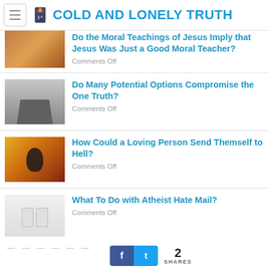COLD AND LONELY TRUTH
Do the Moral Teachings of Jesus Imply that Jesus Was Just a Good Moral Teacher?
Comments Off
Do Many Potential Options Compromise the One Truth?
Comments Off
How Could a Loving Person Send Themself to Hell?
Comments Off
What To Do with Atheist Hate Mail?
Comments Off
2 SHARES